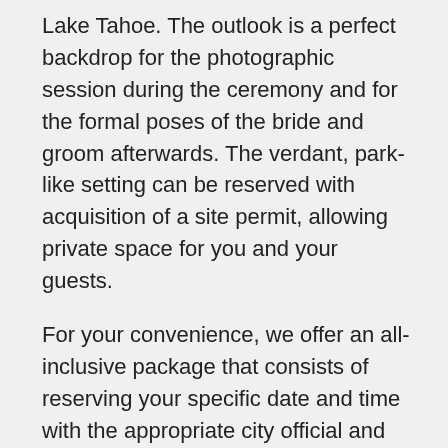Lake Tahoe. The outlook is a perfect backdrop for the photographic session during the ceremony and for the formal poses of the bride and groom afterwards. The verdant, park-like setting can be reserved with acquisition of a site permit, allowing private space for you and your guests.
For your convenience, we offer an all-inclusive package that consists of reserving your specific date and time with the appropriate city official and acquiring the necessary permit for park use. Reserving the area is necessary for large parties if you're planning to have your wedding during the summer months. A reservation guarantees your exclusive use of the area for a two hour period, and up to 100 guests can be accommodated. Securing a permit also allows for seating to be arranged for your guests (at additional cost) and the erecting of decorative items, such as an arch or floral arrangements.